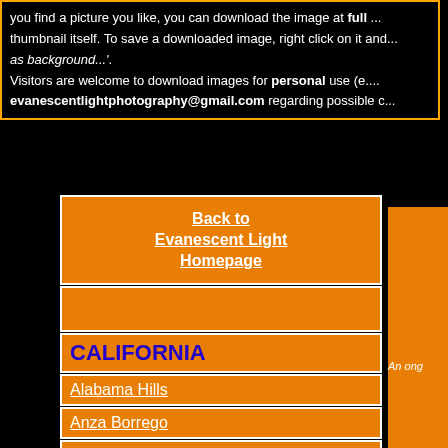you find a picture you like, you can download the image at full ... thumbnail itself. To save a downloaded image, right click on it and... as background...'. Visitors are welcome to download images for personal use (e.... evanescentlightphotography@gmail.com regarding possible c...
Back to Evanescent Light Homepage
CALIFORNIA
Alabama Hills
Anza Borrego
Badwater 135
Big Sur
Bodie
Bristlecone Pines
Bolsa Chica
Bombay Beach
Carrizo Plain
An ong...
[Figure (photo): Partial blurred grey/blue photo visible at bottom right]